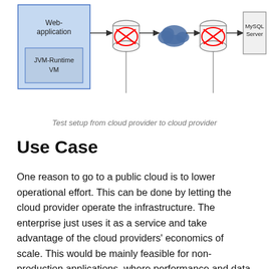[Figure (network-graph): Network diagram showing test setup from cloud provider to cloud provider. Left side has a blue box containing 'Web-application' and 'JVM-Runtime VM'. Connected via arrows through two cylindrical database icons (with red X marks) and a cloud icon in the middle, to a 'MySQL Server' box on the right. Vertical lines hang below the cylinders.]
Test setup from cloud provider to cloud provider
Use Case
One reason to go to a public cloud is to lower operational effort. This can be done by letting the cloud provider operate the infrastructure. The enterprise just uses it as a service and take advantage of the cloud providers' economics of scale. This would be mainly feasible for non-production applications, where performance and data security are not the main focus.